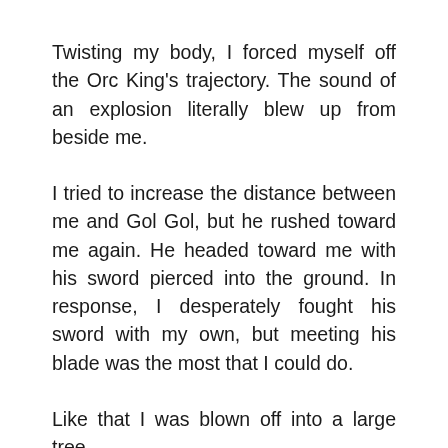Twisting my body, I forced myself off the Orc King's trajectory. The sound of an explosion literally blew up from beside me.
I tried to increase the distance between me and Gol Gol, but he rushed toward me again. He headed toward me with his sword pierced into the ground. In response, I desperately fought his sword with my own, but meeting his blade was the most that I could do.
Like that I was blown off into a large tree.
I didn't even have time to use a falling technique to soften the blow, so my body received the brunt of the force as my back firmly planted itself onto the tree. With me gasping for breath, and my body unmoving, it was